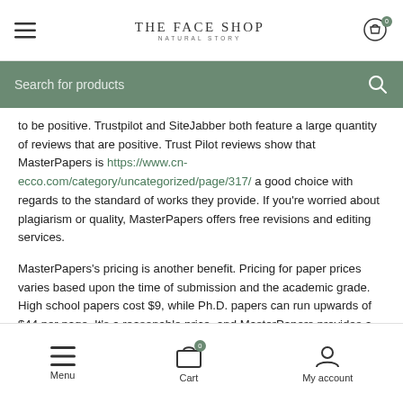THE FACE SHOP NATURAL STORY — navigation header with hamburger menu and cart (0 items)
Search for products
to be positive. Trustpilot and SiteJabber both feature a large quantity of reviews that are positive. Trust Pilot reviews show that MasterPapers is https://www.cn-ecco.com/category/uncategorized/page/317/ a good choice with regards to the standard of works they provide. If you're worried about plagiarism or quality, MasterPapers offers free revisions and editing services.
MasterPapers's pricing is another benefit. Pricing for paper prices varies based upon the time of submission and the academic grade. High school papers cost $9, while Ph.D. papers can run upwards of $44 per page. It's a reasonable price, and MasterPapers provides a 10% referral discount. The MasterPapers service is worth
Menu  Cart (0)  My account